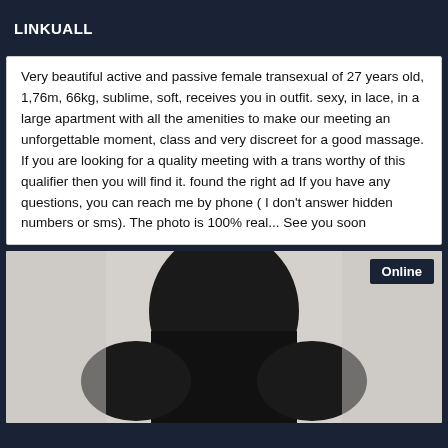LINKUALL
Very beautiful active and passive female transexual of 27 years old, 1,76m, 66kg, sublime, soft, receives you in outfit. sexy, in lace, in a large apartment with all the amenities to make our meeting an unforgettable moment, class and very discreet for a good massage. If you are looking for a quality meeting with a trans worthy of this qualifier then you will find it. found the right ad If you have any questions, you can reach me by phone ( I don't answer hidden numbers or sms). The photo is 100% real... See you soon
[Figure (photo): A close-up photo of a person with dark skin, partially visible. An 'Online' badge appears in the top-right corner of the image.]